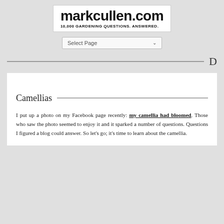markcullen.com — 10,000 GARDENING QUESTIONS. ANSWERED.
Camellias
I put up a photo on my Facebook page recently: my camellia had bloomed. Those who saw the photo seemed to enjoy it and it sparked a number of questions. Questions I figured a blog could answer. So let's go; it's time to learn about the camellia.